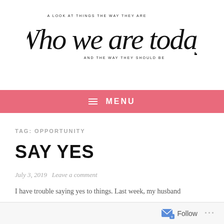[Figure (logo): Blog logo with cursive text 'Who we are today' and taglines 'A LOOK AT THINGS THE WAY THEY ARE' and 'AND THE WAY THEY SHOULD BE']
≡ MENU
TAG: OPPORTUNITY
SAY YES
July 3, 2019   Leave a comment
I have trouble saying yes to things. Last week, my husband